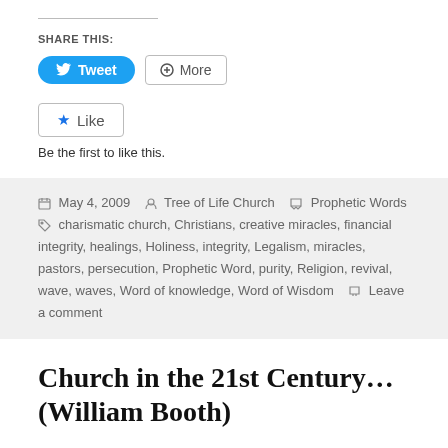SHARE THIS:
[Figure (other): Tweet button (blue rounded) and More button (grey outlined) for sharing]
[Figure (other): Like button with star icon]
Be the first to like this.
May 4, 2009   Tree of Life Church   Prophetic Words   charismatic church, Christians, creative miracles, financial integrity, healings, Holiness, integrity, Legalism, miracles, pastors, persecution, Prophetic Word, purity, Religion, revival, wave, waves, Word of knowledge, Word of Wisdom   Leave a comment
Church in the 21st Century… (William Booth)
William Booth (Founder of The Salvation Army)